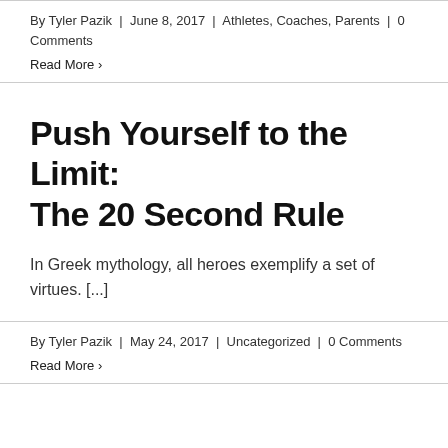By Tyler Pazik | June 8, 2017 | Athletes, Coaches, Parents | 0 Comments
Read More >
Push Yourself to the Limit: The 20 Second Rule
In Greek mythology, all heroes exemplify a set of virtues. [...]
By Tyler Pazik | May 24, 2017 | Uncategorized | 0 Comments
Read More >